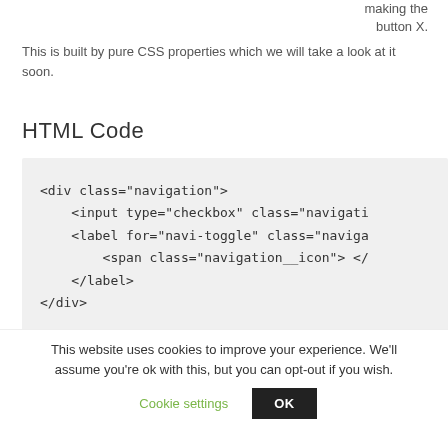making the button X.
This is built by pure CSS properties which we will take a look at it soon.
HTML Code
[Figure (screenshot): Code block showing HTML snippet for a navigation div with checkbox input, label for navi-toggle, span with navigation__icon class, and closing tags.]
This website uses cookies to improve your experience. We'll assume you're ok with this, but you can opt-out if you wish.
Cookie settings   OK